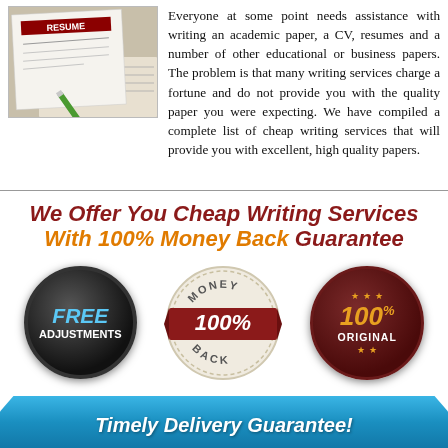[Figure (photo): Photo of a resume document with a green pen on top, next to a newspaper]
Everyone at some point needs assistance with writing an academic paper, a CV, resumes and a number of other educational or business papers. The problem is that many writing services charge a fortune and do not provide you with the quality paper you were expecting. We have compiled a complete list of cheap writing services that will provide you with excellent, high quality papers.
[Figure (infographic): Promotional infographic showing: 'We Offer You Cheap Writing Services With 100% Money Back Guarantee' header in dark red and orange italic text. Three badges: a dark circle with 'FREE ADJUSTMENTS' in blue/white, a cream Money Back 100% stamp with red ribbon, and a dark red circle with '100% ORIGINAL' in gold/white with stars. A blue ribbon at the bottom reads 'Timely Delivery Guarantee!']